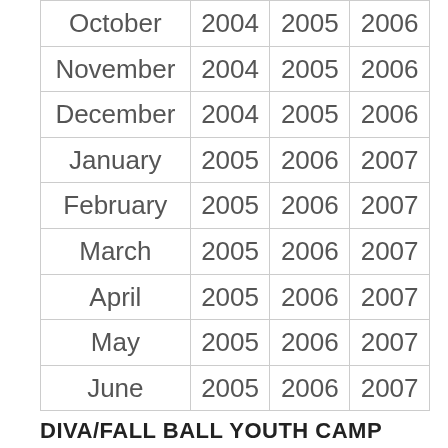| Month | Year 1 | Year 2 | Year 3 |
| --- | --- | --- | --- |
| October | 2004 | 2005 | 2006 |
| November | 2004 | 2005 | 2006 |
| December | 2004 | 2005 | 2006 |
| January | 2005 | 2006 | 2007 |
| February | 2005 | 2006 | 2007 |
| March | 2005 | 2006 | 2007 |
| April | 2005 | 2006 | 2007 |
| May | 2005 | 2006 | 2007 |
| June | 2005 | 2006 | 2007 |
DIVA/FALL BALL YOUTH CAMP